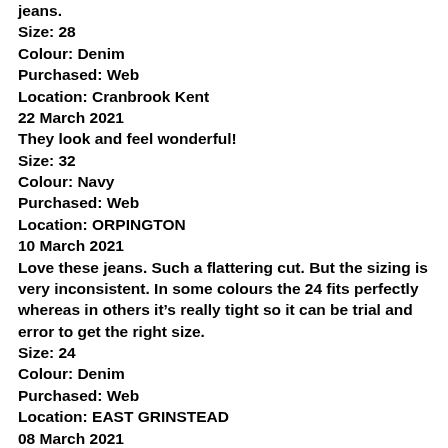jeans.
Size: 28
Colour: Denim
Purchased: Web
Location: Cranbrook Kent
22 March 2021
They look and feel wonderful!
Size: 32
Colour: Navy
Purchased: Web
Location: ORPINGTON
10 March 2021
Love these jeans. Such a flattering cut. But the sizing is very inconsistent. In some colours the 24 fits perfectly whereas in others it's really tight so it can be trial and error to get the right size.
Size: 24
Colour: Denim
Purchased: Web
Location: EAST GRINSTEAD
08 March 2021
Would have given 5 but a little long for me
Size: 28
Colour: Navy
Purchased: Web